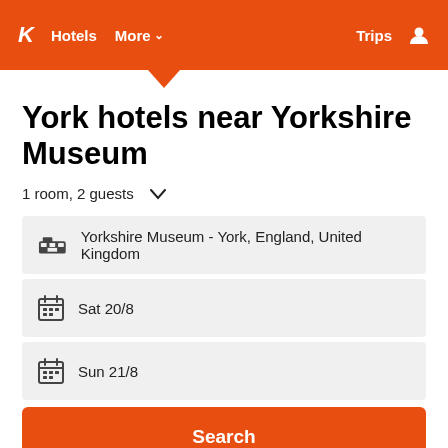K  Hotels  More ▾  Trips  👤
York hotels near Yorkshire Museum
1 room, 2 guests ∨
Yorkshire Museum - York, England, United Kingdom
Sat 20/8
Sun 21/8
Search